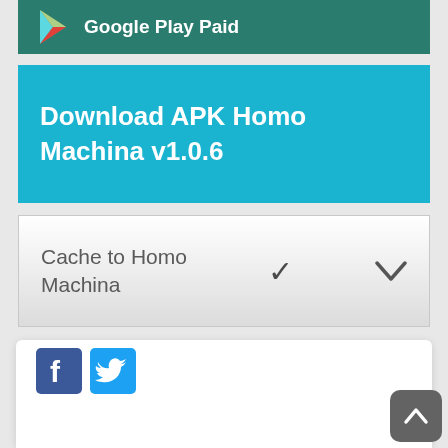[Figure (screenshot): Google Play Paid store button bar in dark teal color with Google Play triangle logo icon and text 'Google Play Paid']
Download APK Homo Machina v1.0.6
Cache to Homo Machina
[Figure (other): Facebook and Twitter social share icon buttons]
Information
Users of Guests are not allowed to comment this publication.
Comments on Homo Machina